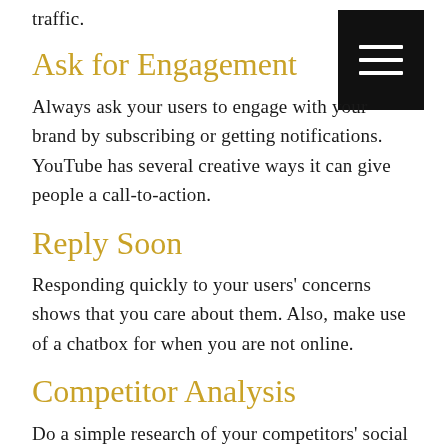traffic.
Ask for Engagement
Always ask your users to engage with your brand by subscribing or getting notifications. YouTube has several creative ways it can give people a call-to-action.
Reply Soon
Responding quickly to your users’ concerns shows that you care about them. Also, make use of a chatbox for when you are not online.
Competitor Analysis
Do a simple research of your competitors’ social media strategies to see which approaches work best for them. You